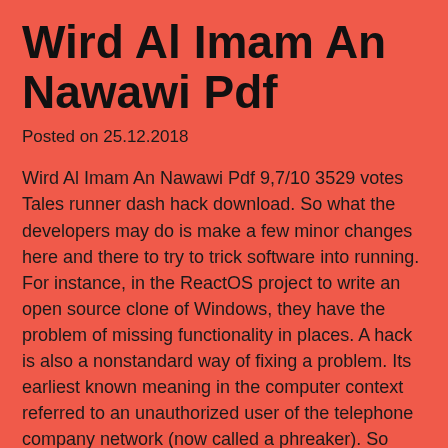Wird Al Imam An Nawawi Pdf
Posted on 25.12.2018
Wird Al Imam An Nawawi Pdf 9,7/10 3529 votes Tales runner dash hack download. So what the developers may do is make a few minor changes here and there to try to trick software into running. For instance, in the ReactOS project to write an open source clone of Windows, they have the problem of missing functionality in places. A hack is also a nonstandard way of fixing a problem. Its earliest known meaning in the computer context referred to an unauthorized user of the telephone company network (now called a phreaker). So naturally, certain things won't work.
Commentaries on Imam Nawawi's Forty Hadith The collection of Forty Hadith by al-Imam al-Nawawi (or Imam